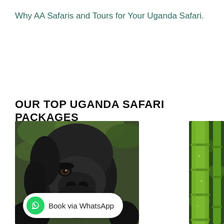Why AA Safaris and Tours for Your Uganda Safari.
OUR TOP UGANDA SAFARI PACKAGES
[Figure (photo): Close-up photo of a mountain gorilla with dark fur, in a forested setting]
[Figure (photo): Photo of green bamboo stalks in a forest]
Book via WhatsApp